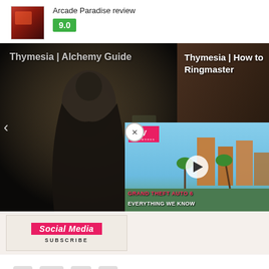[Figure (screenshot): Arcade Paradise game thumbnail - red/dark image]
Arcade Paradise review
9.0
[Figure (screenshot): Carousel showing two Thymesia game guide thumbnails. Left: Thymesia | Alchemy Guide with dark figure. Right: Thymesia | How to Ringmaster.]
[Figure (screenshot): Video overlay showing MW logo, Grand Theft Auto 6 Everything We Know with city background and play button]
[Figure (screenshot): Social Media Subscribe box with pink logo]
[Figure (screenshot): Social media icons: Facebook, YouTube, Twitter, Instagram]